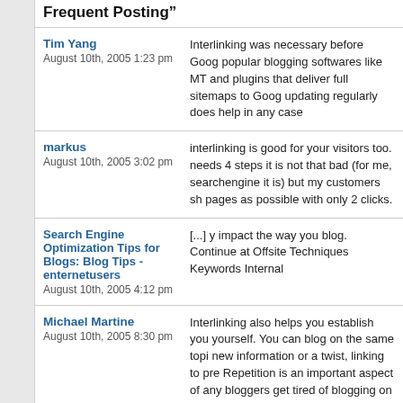Frequent Posting”
Tim Yang
August 10th, 2005 1:23 pm
Interlinking was necessary before Goog... popular blogging softwares like MT and ... plugins that deliver full sitemaps to Goog... updating regularly does help in any case...
markus
August 10th, 2005 3:02 pm
interlinking is good for your visitors too. ... needs 4 steps it is not that bad (for me, ... searchengine it is) but my customers sh... pages as possible with only 2 clicks.
Search Engine Optimization Tips for Blogs: Blog Tips - enternetusers
August 10th, 2005 4:12 pm
[...] y impact the way you blog. Continue... at Offsite Techniques Keywords Internal...
Michael Martine
August 10th, 2005 8:30 pm
Interlinking also helps you establish you... yourself. You can blog on the same topi... new information or a twist, linking to pre... Repetition is an important aspect of any... bloggers get tired of blogging on the sa...